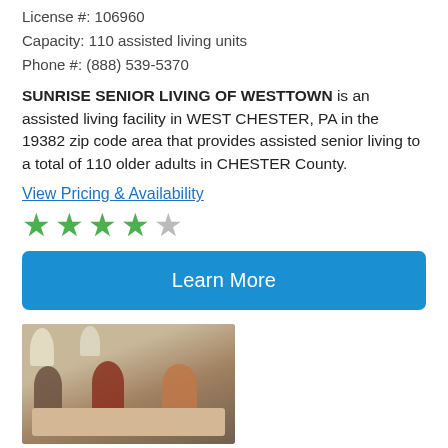License #: 106960
Capacity: 110 assisted living units
Phone #: (888) 539-5370
SUNRISE SENIOR LIVING OF WESTTOWN is an assisted living facility in WEST CHESTER, PA in the 19382 zip code area that provides assisted senior living to a total of 110 older adults in CHESTER County.
View Pricing & Availability
[Figure (other): 4 out of 5 star rating shown as green filled stars and one gray empty star]
Learn More
[Figure (photo): Elderly residents sitting around a table playing a board game indoors, with lamps and furniture visible in the background]